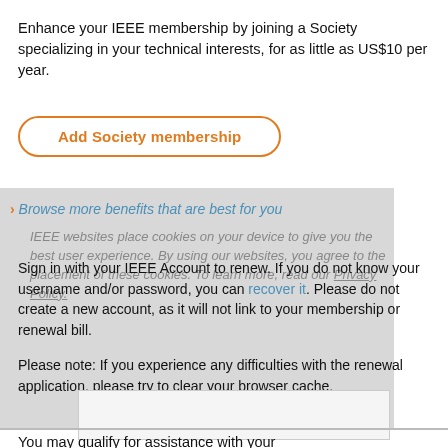Enhance your IEEE membership by joining a Society specializing in your technical interests, for as little as US$10 per year.
Add Society membership
› Browse more benefits that are best for you
IEEE websites place cookies on your device to give you the best user experience. By using our websites, you agree to the placement of these cookies. To learn more, read our Privacy Policy.
Sign in with your IEEE Account to renew. If you do not know your username and/or password, you can recover it. Please do not create a new account, as it will not link to your membership or renewal bill.
Please note: If you experience any difficulties with the renewal application, please try to clear your browser cache.
You may qualify for assistance with your